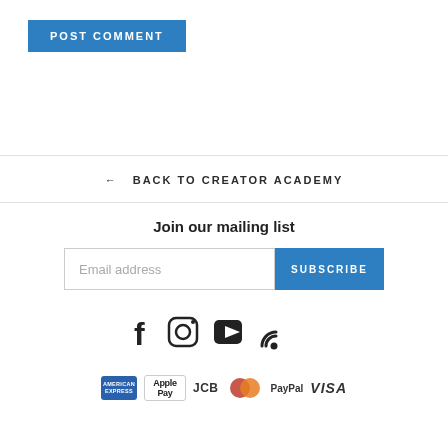POST COMMENT
← BACK TO CREATOR ACADEMY
Join our mailing list
Email address
SUBSCRIBE
[Figure (illustration): Social media icons: Facebook, Instagram, YouTube, RSS feed]
[Figure (illustration): Payment method icons: American Express, Apple Pay, JCB, Mastercard, PayPal, Visa]